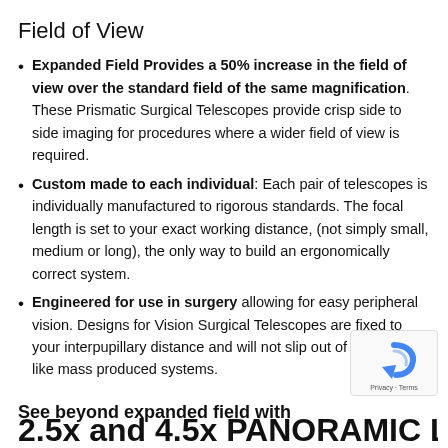Field of View
Expanded Field Provides a 50% increase in the field of view over the standard field of the same magnification. These Prismatic Surgical Telescopes provide crisp side to side imaging for procedures where a wider field of view is required.
Custom made to each individual: Each pair of telescopes is individually manufactured to rigorous standards. The focal length is set to your exact working distance, (not simply small, medium or long), the only way to build an ergonomically correct system.
Engineered for use in surgery allowing for easy peripheral vision. Designs for Vision Surgical Telescopes are fixed to your interpupillary distance and will not slip out of alignment like mass produced systems.
See beyond expanded field with
2.5x and 4.5x PANORAMIC Loupes